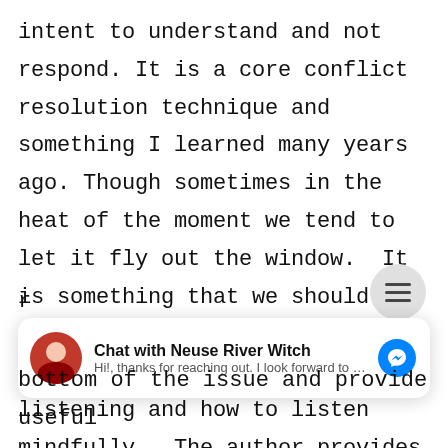intent to understand and not respond. It is a core conflict resolution technique and something I learned many years ago. Though sometimes in the heat of the moment we tend to let it fly out the window.  It is something that we should embrace.  I loved the sections on the benefits of deeper listening and how to listen mindfully.  The author provides insight on how we should be present at the very beginning as well as keeping an open mind throughout the
[Figure (screenshot): Chat widget overlay: 'Chat with Neuse River Witch' with avatar photo, preview text 'Hi!, thanks for reaching out. I look forward to our...' and blue Messenger icon]
bottom of the issue and provide useful